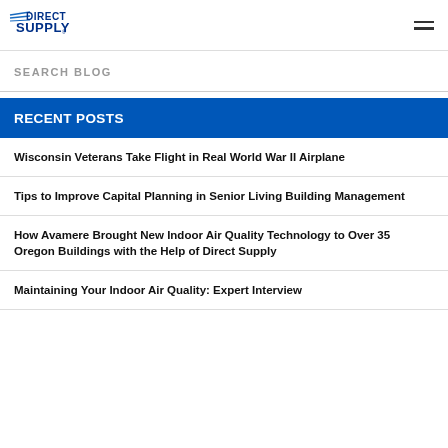Direct Supply [logo] [hamburger menu]
SEARCH BLOG
RECENT POSTS
Wisconsin Veterans Take Flight in Real World War II Airplane
Tips to Improve Capital Planning in Senior Living Building Management
How Avamere Brought New Indoor Air Quality Technology to Over 35 Oregon Buildings with the Help of Direct Supply
Maintaining Your Indoor Air Quality: Expert Interview